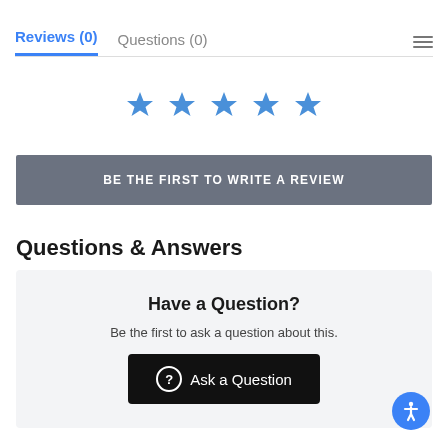Reviews (0)   Questions (0)
[Figure (other): Five blue star icons for rating]
BE THE FIRST TO WRITE A REVIEW
Questions & Answers
Have a Question?
Be the first to ask a question about this.
Ask a Question